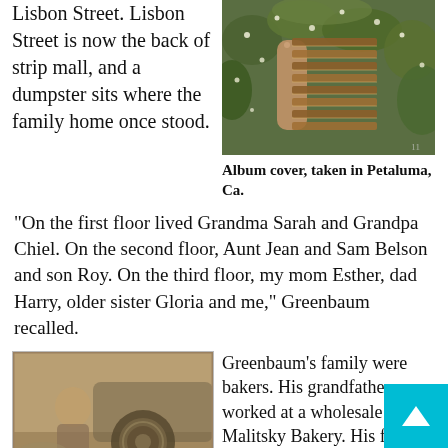Lisbon Street. Lisbon Street is now the back of strip mall, and a dumpster sits where the family home once stood.
[Figure (photo): Album cover photo taken in Petaluma, Ca. — person holding a wicker/woven object surrounded by foliage and flowers.]
Album cover, taken in Petaluma, Ca.
“On the first floor lived Grandma Sarah and Grandpa Chiel. On the second floor, Aunt Jean and Sam Belson and son Roy. On the third floor, my mom Esther, dad Harry, older sister Gloria and me,” Greenbaum recalled.
[Figure (photo): Old sepia-toned photograph of a young child near a car wheel/tire.]
Greenbaum’s family were bakers. His grandfather worked at a wholesale bakery, Malitsky Bakery. His father